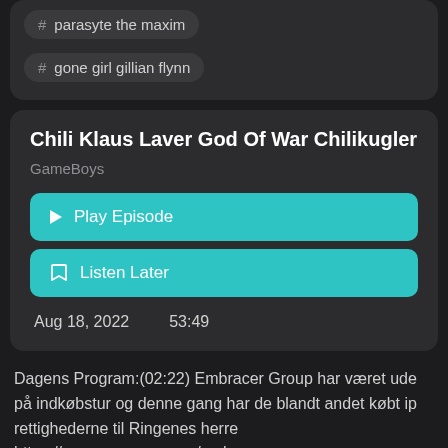# parasyte the maxim
# gone girl gillian flynn
Chili Klaus Laver God Of War Chilikugler
GameBoys
▶ Play Episode
🔖 Listen Later
Aug 18, 2022    53:49
Dagens Program:(02:22) Embracer Group har været ude på indkøbstur og denne gang har de blandt andet købt ip rettighederne til Ringenes herre https://www.pcgamer.com/embracer-goes-on-